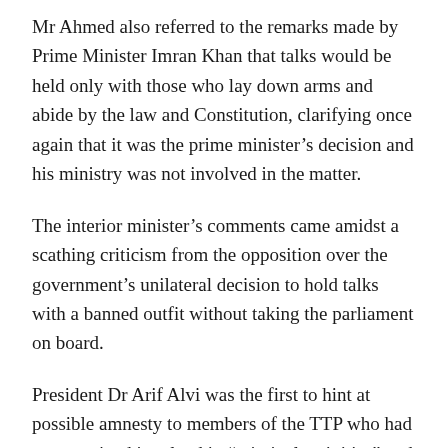Mr Ahmed also referred to the remarks made by Prime Minister Imran Khan that talks would be held only with those who lay down arms and abide by the law and Constitution, clarifying once again that it was the prime minister’s decision and his ministry was not involved in the matter.
The interior minister’s comments came amidst a scathing criticism from the opposition over the government’s unilateral decision to hold talks with a banned outfit without taking the parliament on board.
President Dr Arif Alvi was the first to hint at possible amnesty to members of the TTP who had not remained involved in “criminal activities” and who would lay down their weapons and agree to adhere to the Constitution.
Such an amnesty could be one of the ways to “establish peace”,